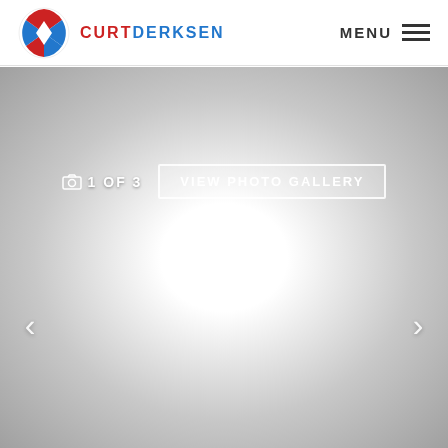[Figure (logo): Curt Derksen logo: circular icon with red and blue quadrants, followed by brand name CURTDERKSEN in red and blue]
MENU
[Figure (screenshot): Photo gallery viewer with gray gradient background showing 1 OF 3 counter and VIEW PHOTO GALLERY button, with left and right navigation arrows]